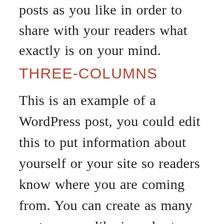posts as you like in order to share with your readers what exactly is on your mind.
THREE-COLUMNS
This is an example of a WordPress post, you could edit this to put information about yourself or your site so readers know where you are coming from. You can create as many posts as you like in order to share with your readers what is on your mind.
This is an example of a WordPress post, you could edit this to put information about yourself or your site so readers know where you are coming from. You can create as many posts as you like in order to share with your